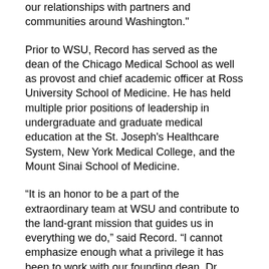our relationships with partners and communities around Washington."
Prior to WSU, Record has served as the dean of the Chicago Medical School as well as provost and chief academic officer at Ross University School of Medicine. He has held multiple prior positions of leadership in undergraduate and graduate medical education at the St. Joseph's Healthcare System, New York Medical College, and the Mount Sinai School of Medicine.
“It is an honor to be a part of the extraordinary team at WSU and contribute to the land-grant mission that guides us in everything we do,” said Record. “I cannot emphasize enough what a privilege it has been to work with our founding dean, Dr. John Tomkowiak, and to support his vision of